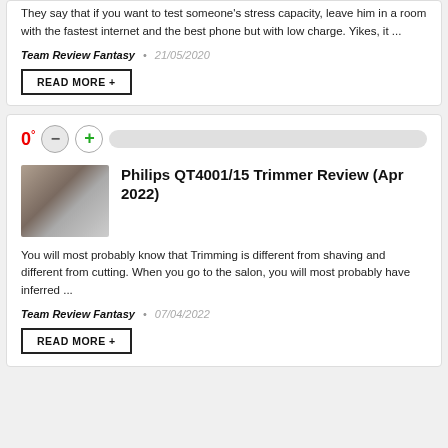They say that if you want to test someone's stress capacity, leave him in a room with the fastest internet and the best phone but with low charge. Yikes, it ...
Team Review Fantasy  •  21/05/2020
READ MORE +
0°
Philips QT4001/15 Trimmer Review (Apr 2022)
You will most probably know that Trimming is different from shaving and different from cutting. When you go to the salon, you will most probably have inferred ...
Team Review Fantasy  •  07/04/2022
READ MORE +